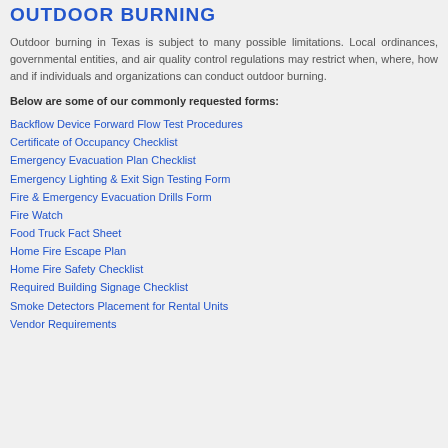OUTDOOR BURNING
Outdoor burning in Texas is subject to many possible limitations. Local ordinances, governmental entities, and air quality control regulations may restrict when, where, how and if individuals and organizations can conduct outdoor burning.
Below are some of our commonly requested forms:
Backflow Device Forward Flow Test Procedures
Certificate of Occupancy Checklist
Emergency Evacuation Plan Checklist
Emergency Lighting & Exit Sign Testing Form
Fire & Emergency Evacuation Drills Form
Fire Watch
Food Truck Fact Sheet
Home Fire Escape Plan
Home Fire Safety Checklist
Required Building Signage Checklist
Smoke Detectors Placement for Rental Units
Vendor Requirements